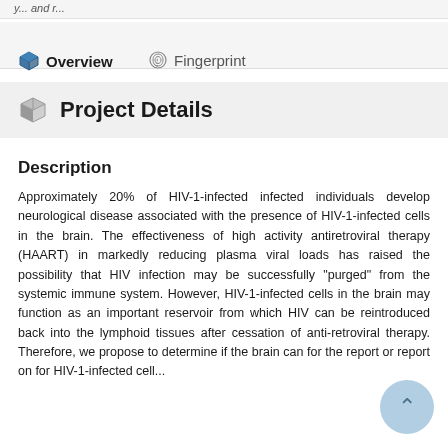Overview   Fingerprint
Project Details
Description
Approximately 20% of HIV-1-infected infected individuals develop neurological disease associated with the presence of HIV-1-infected cells in the brain. The effectiveness of high activity antiretroviral therapy (HAART) in markedly reducing plasma viral loads has raised the possibility that HIV infection may be successfully "purged" from the systemic immune system. However, HIV-1-infected cells in the brain may function as an important reservoir from which HIV can be reintroduced back into the lymphoid tissues after cessation of anti-retroviral therapy. Therefore, we propose to determine if the brain can for the report or report on for HIV-1-infected cell...